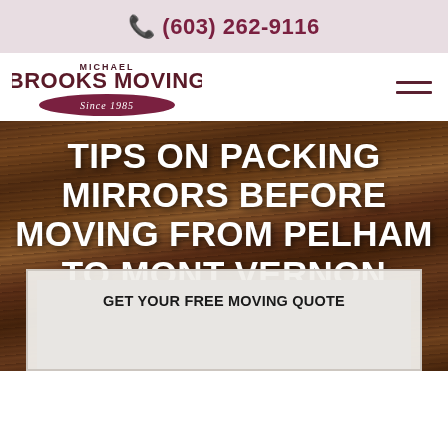(603) 262-9116
[Figure (logo): Michael Brooks Moving Since 1985 logo with oval badge]
TIPS ON PACKING MIRRORS BEFORE MOVING FROM PELHAM TO MONT VERNON
GET YOUR FREE MOVING QUOTE